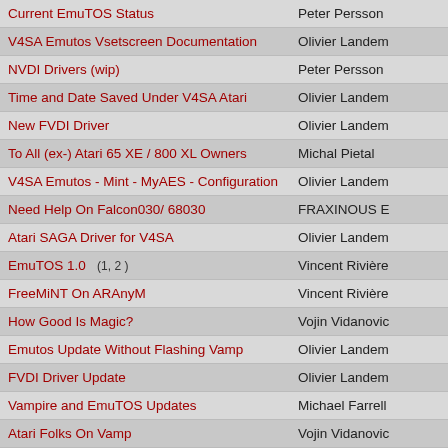| Topic | Author |
| --- | --- |
| Current EmuTOS Status | Peter Persson |
| V4SA Emutos Vsetscreen Documentation | Olivier Landem |
| NVDI Drivers (wip) | Peter Persson |
| Time and Date Saved Under V4SA Atari | Olivier Landem |
| New FVDI Driver | Olivier Landem |
| To All (ex-) Atari 65 XE / 800 XL Owners | Michal Pietal |
| V4SA Emutos - Mint - MyAES - Configuration | Olivier Landem |
| Need Help On Falcon030/ 68030 | FRAXINOUS E |
| Atari SAGA Driver for V4SA | Olivier Landem |
| EmuTOS 1.0   (1, 2 ) | Vincent Rivière |
| FreeMiNT On ARAnyM | Vincent Rivière |
| How Good Is Magic? | Vojin Vidanovic |
| Emutos Update Without Flashing Vamp | Olivier Landem |
| FVDI Driver Update | Olivier Landem |
| Vampire and EmuTOS Updates | Michael Farrell |
| Atari Folks On Vamp | Vojin Vidanovic |
| Atari OS Benchmark On Vampire V4 Standalone   (1, 2 ) | Gunnar von Bo |
17 Topics  / 118 Messa